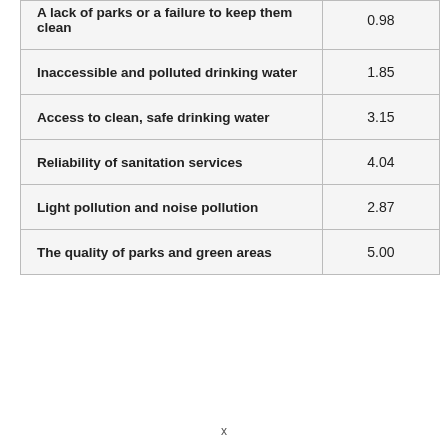|  |  |
| --- | --- |
| A lack of parks or a failure to keep them clean | 0.98 |
| Inaccessible and polluted drinking water | 1.85 |
| Access to clean, safe drinking water | 3.15 |
| Reliability of sanitation services | 4.04 |
| Light pollution and noise pollution | 2.87 |
| The quality of parks and green areas | 5.00 |
x